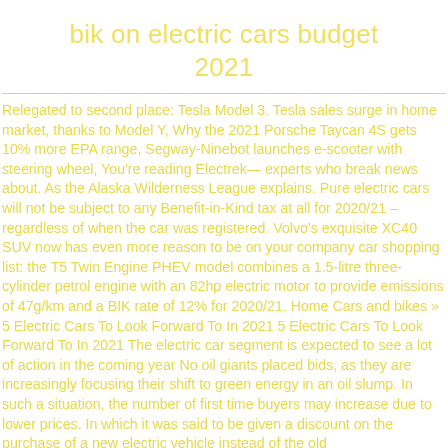bik on electric cars budget 2021
Relegated to second place: Tesla Model 3. Tesla sales surge in home market, thanks to Model Y, Why the 2021 Porsche Taycan 4S gets 10% more EPA range, Segway-Ninebot launches e-scooter with steering wheel, You're reading Electrek— experts who break news about. As the Alaska Wilderness League explains. Pure electric cars will not be subject to any Benefit-in-Kind tax at all for 2020/21 – regardless of when the car was registered. Volvo's exquisite XC40 SUV now has even more reason to be on your company car shopping list: the T5 Twin Engine PHEV model combines a 1.5-litre three-cylinder petrol engine with an 82hp electric motor to provide emissions of 47g/km and a BIK rate of 12% for 2020/21. Home Cars and bikes » 5 Electric Cars To Look Forward To In 2021 5 Electric Cars To Look Forward To In 2021 The electric car segment is expected to see a lot of action in the coming year No oil giants placed bids, as they are increasingly focusing their shift to green energy in an oil slump. In such a situation, the number of first time buyers may increase due to lower prices. In which it was said to be given a discount on the purchase of a new electric vehicle instead of the old